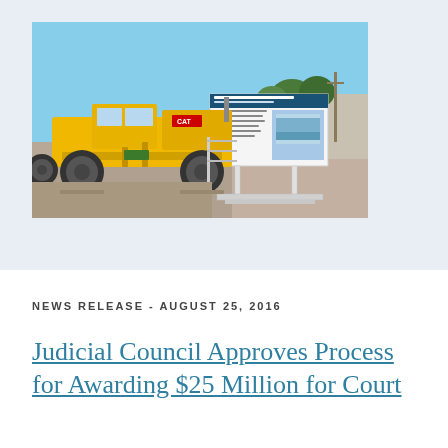[Figure (photo): Construction site photo showing a yellow CAT motor grader/road grader on a gravel lot. In the background is a project sign board for 'Los Banos Courthouse, Merced County, California' with a rendering of the building. Trees and utility poles visible in the background under a blue sky.]
NEWS RELEASE - AUGUST 25, 2016
Judicial Council Approves Process for Awarding $25 Million for Court